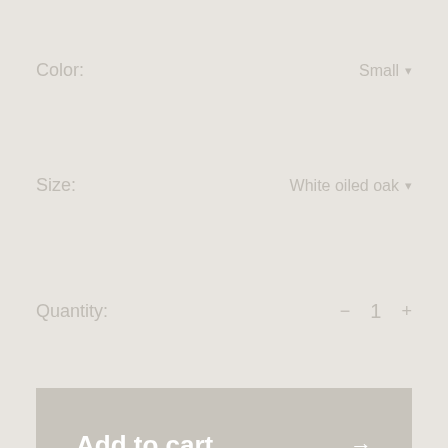Color: Small ▾
Size: White oiled oak ▾
Quantity: − 1 +
Add to cart →
Share this product: Facebook Twitter Pinterest Email
Description
Design Jason Miller